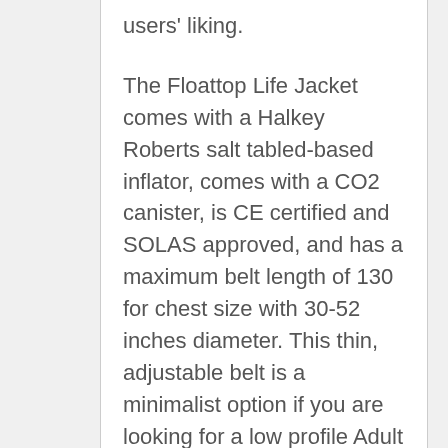users' liking.
The Floattop Life Jacket comes with a Halkey Roberts salt tabled-based inflator, comes with a CO2 canister, is CE certified and SOLAS approved, and has a maximum belt length of 130 for chest size with 30-52 inches diameter. This thin, adjustable belt is a minimalist option if you are looking for a low profile Adult Automatic Inflatable Life Vest.
This is one of the most affordable life vests on the market as buyers